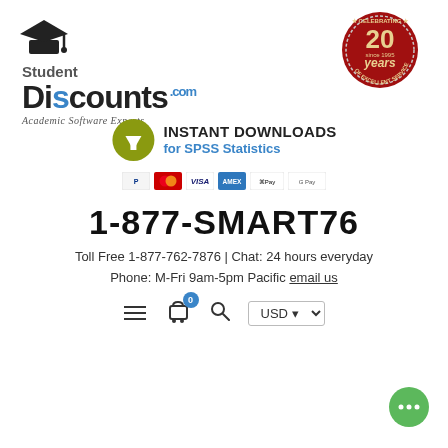[Figure (logo): StudentDiscounts.com logo with mortarboard cap icon, 'Student Discounts.com' text and 'Academic Software Experts' tagline in italic]
[Figure (logo): Red circular badge celebrating 20 years since 1995 of Excellent Service]
[Figure (infographic): Instant Downloads for SPSS Statistics banner with olive/green download arrow circle icon and payment method icons (PayPal, Mastercard, Visa, Amex, Apple Pay, Google Pay)]
1-877-SMART76
Toll Free 1-877-762-7876 | Chat: 24 hours everyday
Phone: M-Fri 9am-5pm Pacific email us
[Figure (screenshot): Navigation bar with hamburger menu, shopping cart with 0 badge, search icon, and USD currency selector dropdown]
[Figure (illustration): Green chat bubble/live chat button in bottom right corner]